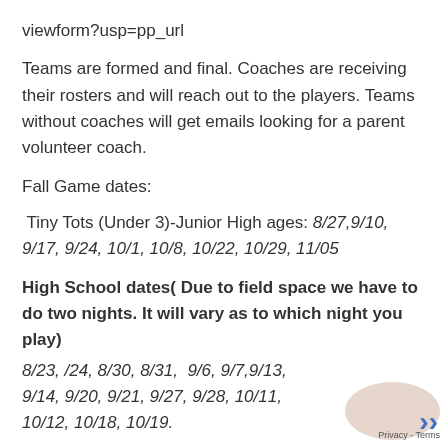viewform?usp=pp_url
Teams are formed and final. Coaches are receiving their rosters and will reach out to the players. Teams without coaches will get emails looking for a parent volunteer coach.
Fall Game dates:
Tiny Tots (Under 3)-Junior High ages: 8/27,9/10, 9/17, 9/24, 10/1, 10/8, 10/22, 10/29, 11/05
High School dates( Due to field space we have to do two nights. It will vary as to which night you play)
8/23, /24, 8/30, 8/31, 9/6, 9/7,9/13, 9/14, 9/20, 9/21, 9/27, 9/28, 10/11, 10/12, 10/18, 10/19.